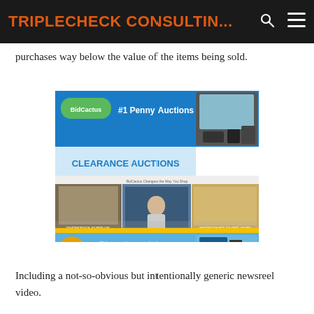TRIPLECHECK CONSULTIN...
purchases way below the value of the items being sold.
[Figure (screenshot): BidCactus #1 Penny Auctions / Clearance Auctions website screenshot showing overstock surplus, warehouse close outs, bid on warehouse products, bid on overstock products, bid on liquidations, with newsreel video thumbnail.]
Including a not-so-obvious but intentionally generic newsreel video.